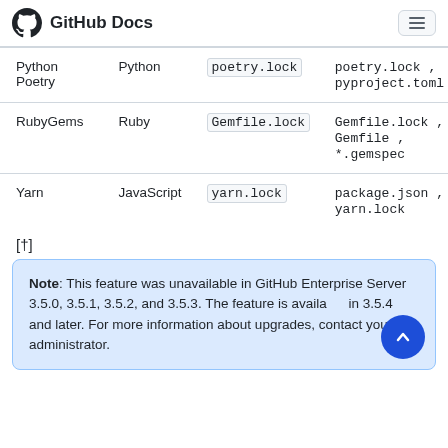GitHub Docs
| Package manager | Languages | Recommended version file | Supported files |
| --- | --- | --- | --- |
| Python Poetry | Python | poetry.lock | poetry.lock , pyproject.toml |
| RubyGems | Ruby | Gemfile.lock | Gemfile.lock , Gemfile , *.gemspec |
| Yarn | JavaScript | yarn.lock | package.json , yarn.lock |
[†]
Note: This feature was unavailable in GitHub Enterprise Server 3.5.0, 3.5.1, 3.5.2, and 3.5.3. The feature is available in 3.5.4 and later. For more information about upgrades, contact your site administrator.